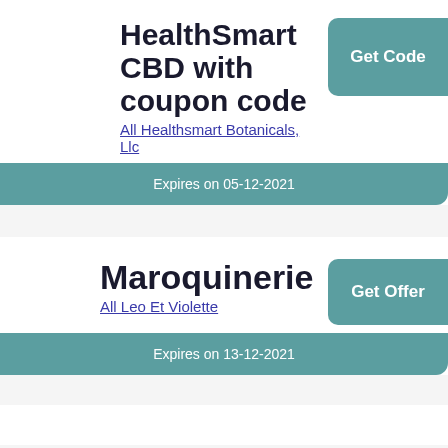HealthSmart CBD with coupon code
All Healthsmart Botanicals, Llc
Get Code
Expires on 05-12-2021
Maroquinerie
All Leo Et Violette
Get Offer
Expires on 13-12-2021